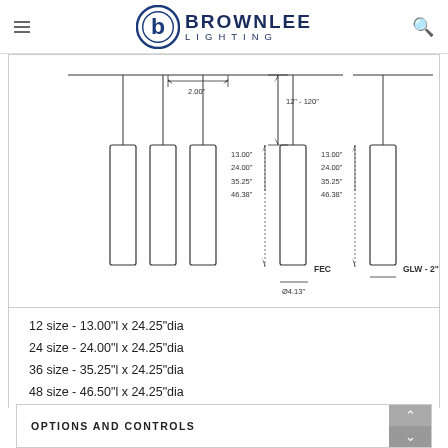[Figure (logo): Brownlee Lighting logo with circular 'b' icon and company name]
[Figure (engineering-diagram): Technical drawing of pendant light fixtures showing FEC and GLW-2 variants with dimensions: 2.00" cord spacing, 12"-120" adjustable cord, body lengths of 13.00", 24.00", 35.25", 46.38", and diameter Ø4.13"]
12 size - 13.00"l x 24.25"dia
24 size - 24.00"l x 24.25"dia
36 size - 35.25"l x 24.25"dia
48 size - 46.50"l x 24.25"dia
OPTIONS AND CONTROLS